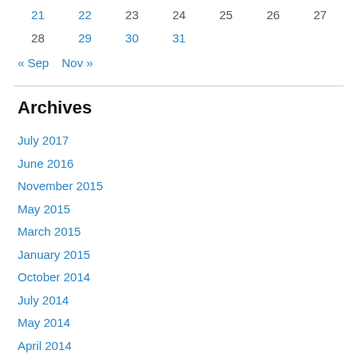| 21 | 22 | 23 | 24 | 25 | 26 | 27 |
| 28 | 29 | 30 | 31 |  |  |  |
« Sep   Nov »
Archives
July 2017
June 2016
November 2015
May 2015
March 2015
January 2015
October 2014
July 2014
May 2014
April 2014
March 2014
February 2014
January 2014